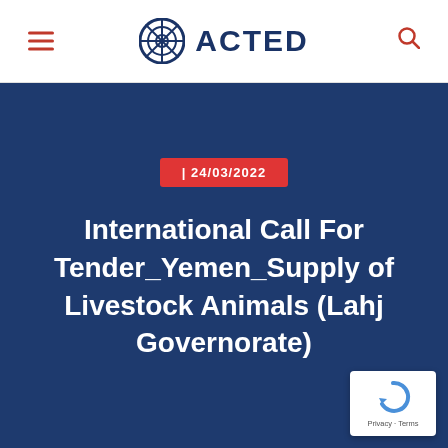ACTED
| 24/03/2022
International Call For Tender_Yemen_Supply of Livestock Animals (Lahj Governorate)